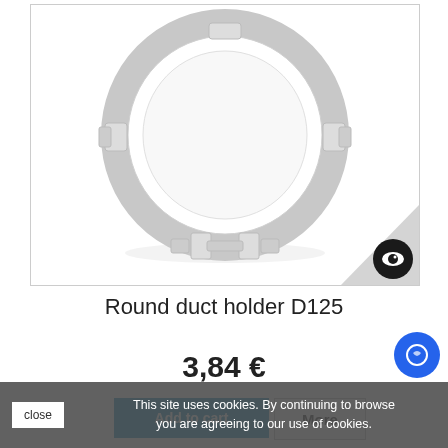[Figure (photo): A white round duct holder/clamp ring (D125) shown on a white background. The clamp is a circular ring with mounting tabs at the bottom and clips on the sides and top. There is an eye/zoom icon in the bottom right corner of the image.]
Round duct holder D125
3,84 €
This site uses cookies. By continuing to browse, you are agreeing to our use of cookies.